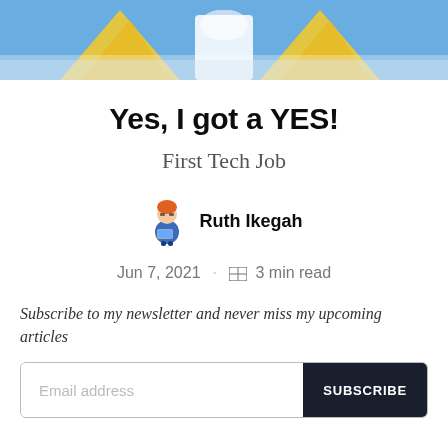[Figure (illustration): Header banner with blue/light blue background showing decorative illustration figures at the top of an article page, with yellow geometric shapes visible]
Yes, I got a YES!
First Tech Job
[Figure (illustration): Small avatar/emoji illustration of person with orange hair holding a laptop, representing Ruth Ikegah]
Ruth Ikegah
Jun 7, 2021 · 3 min read
Subscribe to my newsletter and never miss my upcoming articles
Email address
SUBSCRIBE